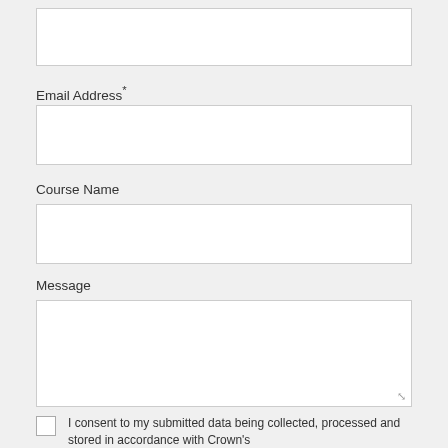[Figure (screenshot): Empty text input box at the top of the form]
Email Address*
[Figure (screenshot): Empty text input box for Email Address]
Course Name
[Figure (screenshot): Empty text input box for Course Name]
Message
[Figure (screenshot): Empty textarea for Message with resize handle]
I consent to my submitted data being collected, processed and stored in accordance with Crown's Privacy Notice